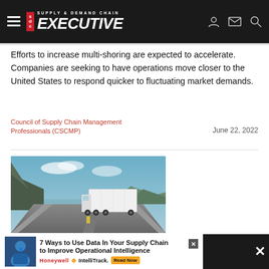Supply & Demand Chain Executive
Efforts to increase multi-shoring are expected to accelerate. Companies are seeking to have operations move closer to the United States to respond quicker to fluctuating market demands.
Council of Supply Chain Management Professionals (CSCMP)
June 22, 2022
[Figure (photo): A white semi-truck with trailer driving on a highway road with mountains and a lake or river visible in the background under a partly cloudy sky.]
Transportation
5 Tips to Crowds